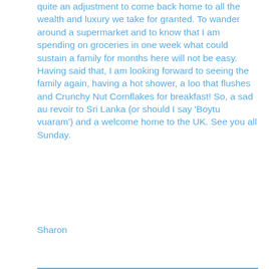quite an adjustment to come back home to all the wealth and luxury we take for granted. To wander around a supermarket and to know that I am spending on groceries in one week what could sustain a family for months here will not be easy. Having said that, I am looking forward to seeing the family again, having a hot shower, a loo that flushes and Crunchy Nut Cornflakes for breakfast! So, a sad au revoir to Sri Lanka (or should I say 'Boytu vuaram') and a welcome home to the UK. See you all Sunday.
Sharon